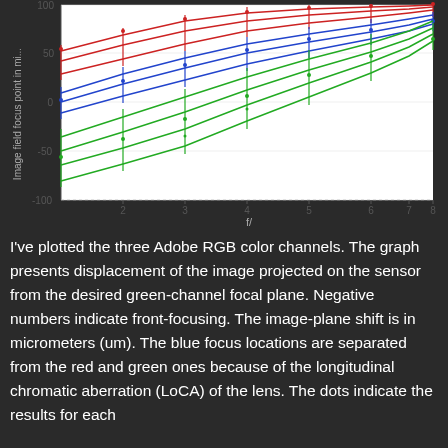[Figure (continuous-plot): Line chart showing image field focus point in micrometers (um) vs f/ number (x-axis 2-8). Three color channels plotted: red (top curves, positive), blue (middle curves, near zero to positive), green (bottom curves, negative to positive). Multiple lines per channel with error bars at each data point. Y-axis from -100 to 100.]
I've plotted the three Adobe RGB color channels. The graph presents displacement of the image projected on the sensor from the desired green-channel focal plane. Negative numbers indicate front-focusing. The image-plane shift is in micrometers (um).  The blue focus locations are separated from the red and green ones because of the longitudinal chromatic aberration (LoCA) of the lens. The dots indicate the results for each of the ...